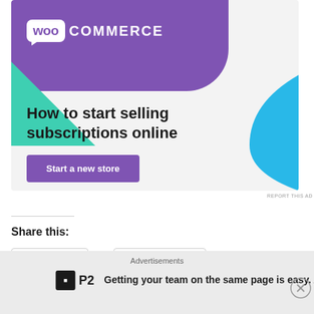[Figure (screenshot): WooCommerce advertisement banner with purple header, WooCommerce logo, green triangle decoration, blue curved shape, headline 'How to start selling subscriptions online', and 'Start a new store' CTA button]
REPORT THIS AD
Share this:
[Figure (screenshot): Twitter share button with Twitter bird icon]
[Figure (screenshot): Facebook share button with Facebook icon]
Advertisements
[Figure (screenshot): P2 advertisement with P2 logo and tagline: Getting your team on the same page is easy. And free.]
[Figure (screenshot): Close/X button overlay]